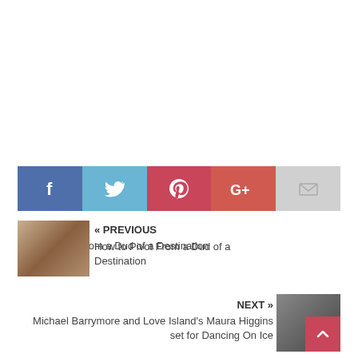[Figure (infographic): Social media share buttons bar: Facebook (blue), Twitter (light blue), Pinterest (red), Google+ (red-orange), Email (grey)]
« PREVIOUS
How to Pivot From a Dud of a Destination
[Figure (photo): Thumbnail image of a person walking with a backpack]
NEXT »
Michael Barrymore and Love Island's Maura Higgins set for Dancing On Ice
[Figure (photo): Thumbnail image of a man (Michael Barrymore) with a red up-arrow button overlay]